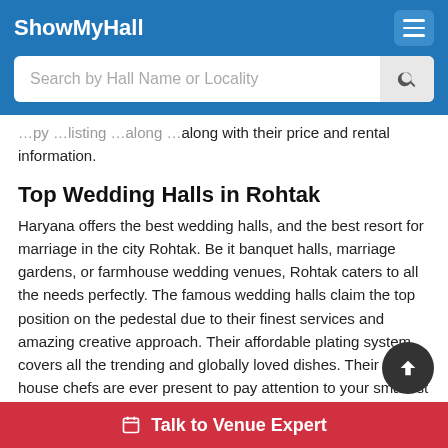ShowMyHall
along with their price and rental information.
Top Wedding Halls in Rohtak
Haryana offers the best wedding halls, and the best resort for marriage in the city Rohtak. Be it banquet halls, marriage gardens, or farmhouse wedding venues, Rohtak caters to all the needs perfectly. The famous wedding halls claim the top position on the pedestal due to their finest services and amazing creative approach. Their affordable plating system covers all the trending and globally loved dishes. Their in house chefs are ever present to pay attention to your smallest request. The good wedding halls here can easily alter their foods to suit your requirements. With the be...
Talk to Venue Expert